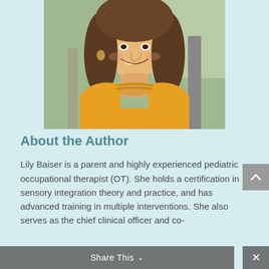[Figure (photo): Professional headshot of Lily Baiser, a woman with shoulder-length brown hair, smiling, wearing a yellow sleeveless mock-neck top, photographed outdoors against a blurred background.]
About the Author
Lily Baiser is a parent and highly experienced pediatric occupational therapist (OT). She holds a certification in sensory integration theory and practice, and has advanced training in multiple interventions. She also serves as the chief clinical officer and co-